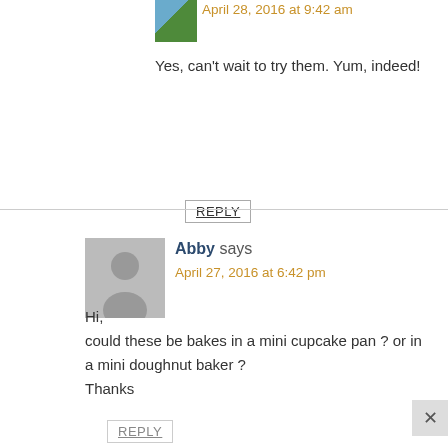April 28, 2016 at 9:42 am
Yes, can't wait to try them. Yum, indeed!
REPLY
Abby says
April 27, 2016 at 6:42 pm
Hi,
could these be bakes in a mini cupcake pan ? or in a mini doughnut baker ?
Thanks
REPLY